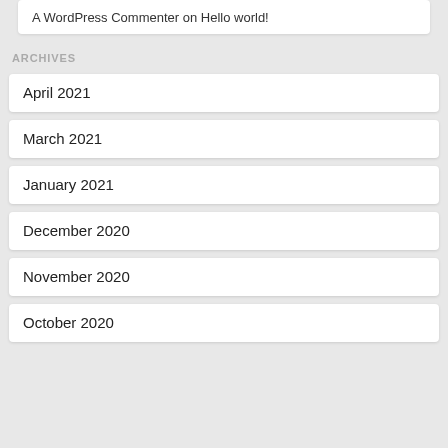A WordPress Commenter on Hello world!
ARCHIVES
April 2021
March 2021
January 2021
December 2020
November 2020
October 2020